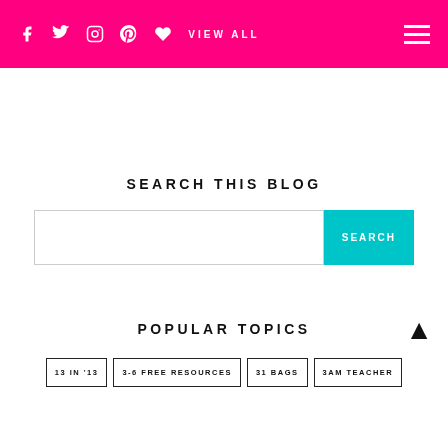VIEW ALL
SEARCH THIS BLOG
SEARCH
POPULAR TOPICS
13 IN '13
3-6 FREE RESOURCES
31 BAGS
3AM TEACHER